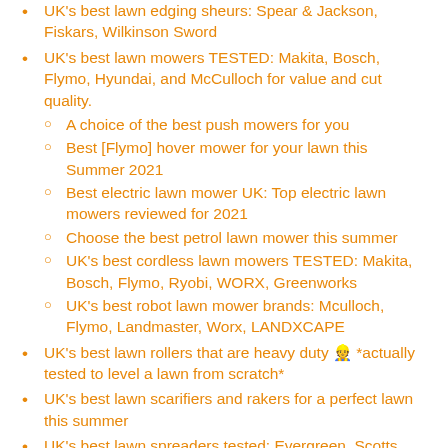UK's best lawn edging sheurs: Spear & Jackson, Fiskars, Wilkinson Sword
UK's best lawn mowers TESTED: Makita, Bosch, Flymo, Hyundai, and McCulloch for value and cut quality.
A choice of the best push mowers for you
Best [Flymo] hover mower for your lawn this Summer 2021
Best electric lawn mower UK: Top electric lawn mowers reviewed for 2021
Choose the best petrol lawn mower this summer
UK's best cordless lawn mowers TESTED: Makita, Bosch, Flymo, Ryobi, WORX, Greenworks
UK's best robot lawn mower brands: Mculloch, Flymo, Landmaster, Worx, LANDXCAPE
UK's best lawn rollers that are heavy duty 👷 *actually tested to level a lawn from scratch*
UK's best lawn scarifiers and rakers for a perfect lawn this summer
UK's best lawn spreaders tested: Evergreen, Scotts, and